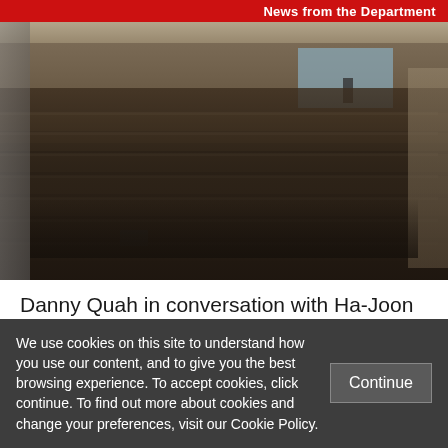News from the Department
[Figure (photo): Overhead view of a packed university lecture hall with students seated at tiered desks, some using laptops, facing a speaker at the front near a projection screen.]
Danny Quah in conversation with Ha-Joon Chang on BBC Radio 4: “Teaching Economics After the Crash”
DECEMBER 2ND, 2014
We use cookies on this site to understand how you use our content, and to give you the best browsing experience. To accept cookies, click continue. To find out more about cookies and change your preferences, visit our Cookie Policy.